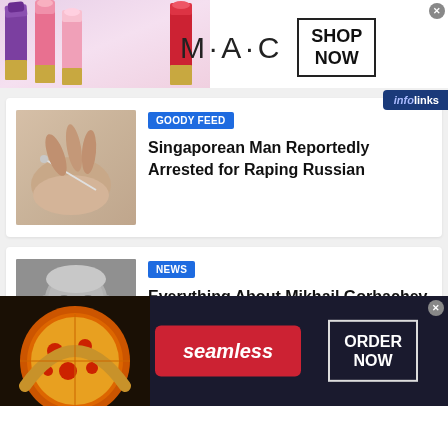[Figure (photo): MAC Cosmetics advertisement banner with lipsticks and 'SHOP NOW' button]
[Figure (photo): infolinks badge top right]
[Figure (photo): Thumbnail image of hand with needle for article about Singaporean man arrested]
GOODY FEED
Singaporean Man Reportedly Arrested for Raping Russian
[Figure (photo): Black and white photo of elderly man, Mikhail Gorbachev]
NEWS
Everything About Mikhail Gorbachev, The Man Who
[Figure (photo): Seamless food ordering advertisement banner with pizza image and ORDER NOW button]